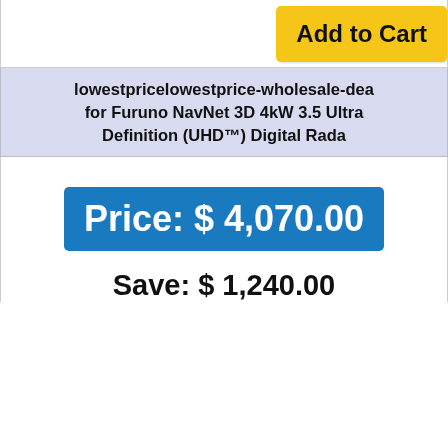[Figure (screenshot): Add to Cart button, gold/yellow color]
lowestpricelowestprice-wholesale-deal for Furuno NavNet 3D 4kW 3.5 Ultra Definition (UHD™) Digital Rada
Price: $ 4,070.00
Save: $ 1,240.00